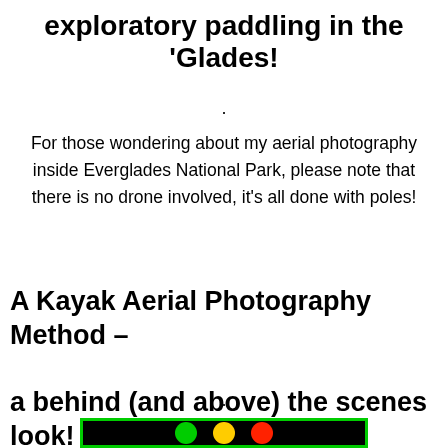exploratory paddling in the ‘Glades!
.
For those wondering about my aerial photography inside Everglades National Park, please note that there is no drone involved, it’s all done with poles!
A Kayak Aerial Photography Method – a behind (and above) the scenes look!
.
.
[Figure (photo): Partial image strip at bottom showing colorful circles (green, yellow, red) on dark background with green border]